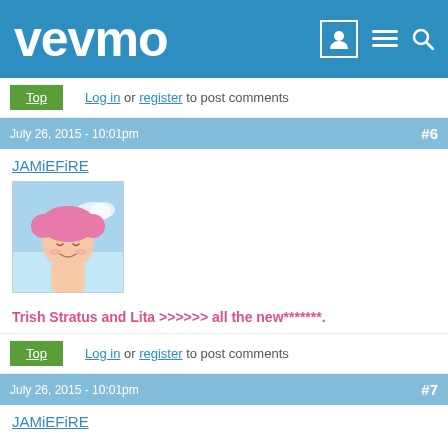vevmo
Top | Log in or register to post comments
July 26, 2015 - 10:01pm  #6
JAMiEFiRE
[Figure (illustration): Anime character with pink hair against a blue sky background, smiling with eyes closed.]
Trish Stratus and Lita >>>>>> all the new*******.
Top | Log in or register to post comments
July 26, 2015 - 10:01pm  #7
JAMiEFiRE